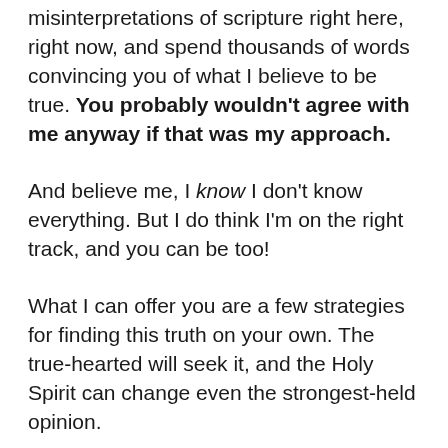misinterpretations of scripture right here, right now, and spend thousands of words convincing you of what I believe to be true. You probably wouldn't agree with me anyway if that was my approach.
And believe me, I know I don't know everything. But I do think I'm on the right track, and you can be too!
What I can offer you are a few strategies for finding this truth on your own. The true-hearted will seek it, and the Holy Spirit can change even the strongest-held opinion.